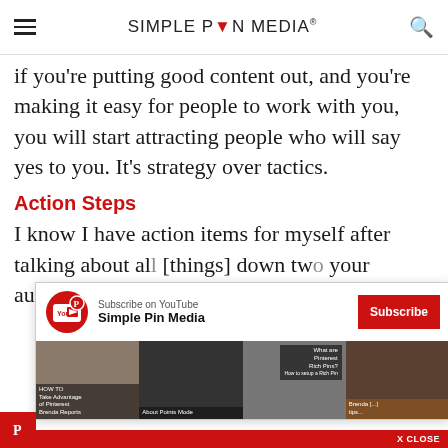SIMPLE PIN MEDIA
if you're putting good content out, and you're making it easy for people to work with you, you will start attracting people who will say yes to you. It's strategy over tactics.
Action Steps
I know I have action items for myself after talking about a [something] down tw[o things] your au[dience]
[Figure (screenshot): YouTube subscribe overlay for Simple Pin Media channel with thumbnails of Pinterest-related videos]